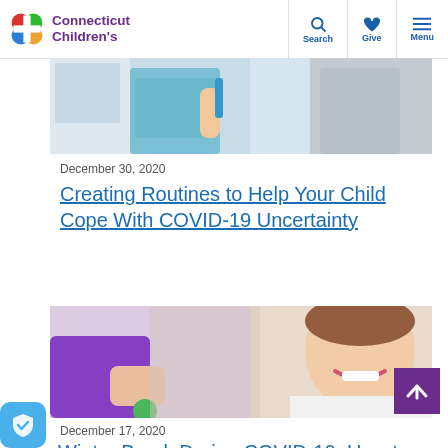Connecticut Children's
[Figure (photo): Child brushing teeth with parent in bathroom background]
December 30, 2020
Creating Routines to Help Your Child Cope With COVID-19 Uncertainty
[Figure (photo): Child playing with toy, smiling, with adult hand nearby]
December 17, 2020
Winter Break During COVID-19: How to Keep Kids Entertained on